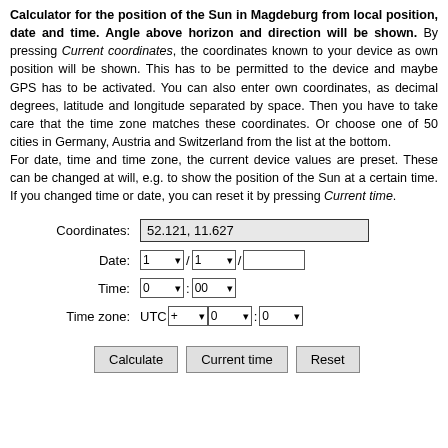Calculator for the position of the Sun in Magdeburg from local position, date and time. Angle above horizon and direction will be shown. By pressing Current coordinates, the coordinates known to your device as own position will be shown. This has to be permitted to the device and maybe GPS has to be activated. You can also enter own coordinates, as decimal degrees, latitude and longitude separated by space. Then you have to take care that the time zone matches these coordinates. Or choose one of 50 cities in Germany, Austria and Switzerland from the list at the bottom.
For date, time and time zone, the current device values are preset. These can be changed at will, e.g. to show the position of the Sun at a certain time. If you changed time or date, you can reset it by pressing Current time.
[Figure (screenshot): A web form with fields: Coordinates (52.121, 11.627), Date (dropdowns 1/1/ and year text box), Time (0 : 00 dropdowns), Time zone (UTC + 0 : 0 dropdowns), and buttons Calculate, Current time, Reset.]